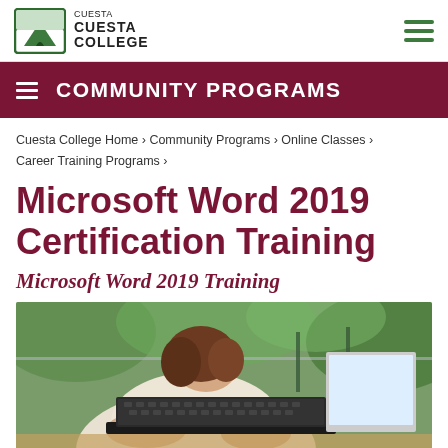Cuesta College
COMMUNITY PROGRAMS
Cuesta College Home › Community Programs › Online Classes › Career Training Programs ›
Microsoft Word 2019 Certification Training
Microsoft Word 2019 Training
[Figure (photo): Person typing on a laptop computer outdoors, wearing a cream sweater, green foliage in background]